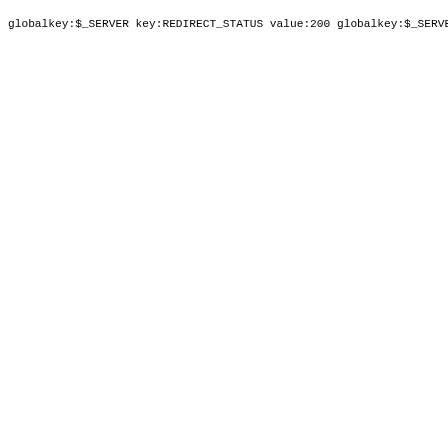globalkey:$_SERVER key:REDIRECT_STATUS value:200
globalkey:$_SERVER key:REQUEST_URI value:/txtblog/?mode=t
globalkey:$_SERVER key:QUERY_STRING value:mode=txtblog&s
globalkey:$_SERVER key:CONTENT_LENGTH value:0
globalkey:$_SERVER key:FCGI_ROLE value:RESPONDER
globalkey:$_SERVER key:PHP_SELF value:/txtblog/index.php
globalkey:$_SERVER key:REQUEST_TIME_FLOAT value:160887715
globalkey:$_SERVER key:REQUEST_TIME value:1608877150
globalkey:$_SERVER key:argv value:Array
globalkey:$_SERVER key:argc value:1
globalkey:$_REQUEST key:mode value:txtblog
globalkey:$_REQUEST key:showentry value:20160701-HypeGame
globalkey:$_GET key:mode value:txtblog
globalkey:$_GET key:showentry value:20160701-HypeGames-Er
# DUMPINFOS [37.140.192.155] ENDS

# DUMPINFOS [37.140.192.155] BEGINS
# DUMPINFOS reason: ERR: UNCLEAN (  =)
globalkey:$_SERVER key:HTTP_ACCEPT value:*/*
globalkey:$_SERVER key:HTTP_HOST value:cjdns.ca
globalkey:$_SERVER key:REMOTE_PORT value:35440
globalkey:$_SERVER key:REMOTE_ADDR value:37.140.192.155
globalkey:$_SERVER key:SERVER_NAME value:cjdns.ca
globalkey:$_SERVER key:SERVER_ADDR value:172.20.3.28
globalkey:$_SERVER key:SERVER_PORT value:80
globalkey:$_SERVER key:GATEWAY_INTERFACE value:CGI/1.1
globalkey:$_SERVER key:SERVER_SOFTWARE value:lighttpd/1.4
globalkey:$_SERVER key:SERVER_PROTOCOL value:HTTP/1.1
globalkey:$_SERVER key:REQUEST_METHOD value:GET
globalkey:$_SERVER key:SCRIPT_FILENAME value:/.../index.